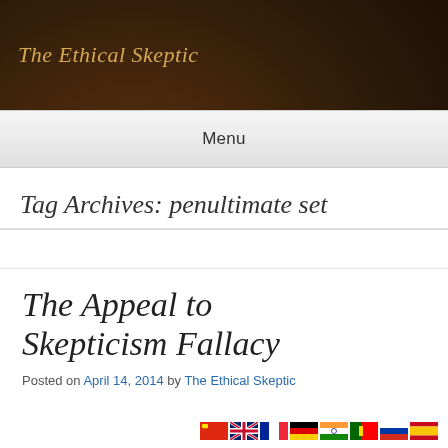The Ethical Skeptic
Menu
Tag Archives: penultimate set
The Appeal to Skepticism Fallacy
Posted on April 14, 2014 by The Ethical Skeptic